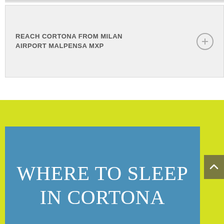REACH CORTONA FROM MILAN AIRPORT MALPENSA MXP
WHERE TO SLEEP IN CORTONA